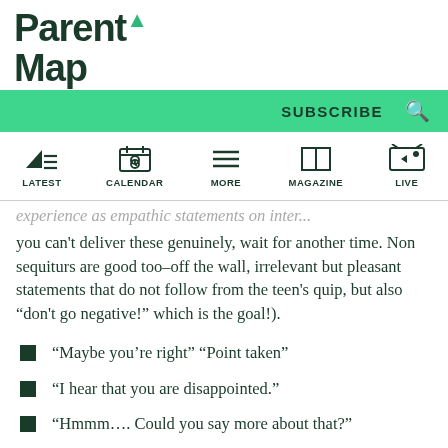ParentMap
you can't deliver these genuinely, wait for another time. Non sequiturs are good too–off the wall, irrelevant but pleasant statements that do not follow from the teen's quip, but also "don't go negative!" which is the goal!).
“Maybe you’re right” “Point taken”
“I hear that you are disappointed.”
“Hmmm…. Could you say more about that?”